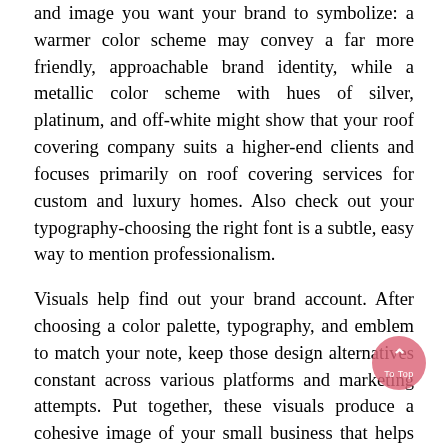and image you want your brand to symbolize: a warmer color scheme may convey a far more friendly, approachable brand identity, while a metallic color scheme with hues of silver, platinum, and off-white might show that your roof covering company suits a higher-end clients and focuses primarily on roof covering services for custom and luxury homes. Also check out your typography-choosing the right font is a subtle, easy way to mention professionalism.
Visuals help find out your brand account. After choosing a color palette, typography, and emblem to match your note, keep those design alternatives constant across various platforms and marketing attempts. Put together, these visuals produce a cohesive image of your small business that helps you stand out. Find out more about Marketing Agency for